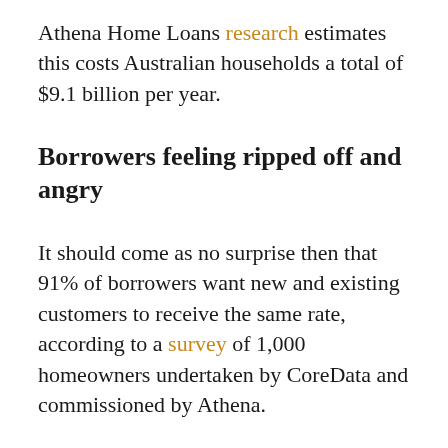Athena Home Loans research estimates this costs Australian households a total of $9.1 billion per year.
Borrowers feeling ripped off and angry
It should come as no surprise then that 91% of borrowers want new and existing customers to receive the same rate, according to a survey of 1,000 homeowners undertaken by CoreData and commissioned by Athena.
The vast majority of those surveyed say they also feel “ripped off” (82%), “angry” (74%), and